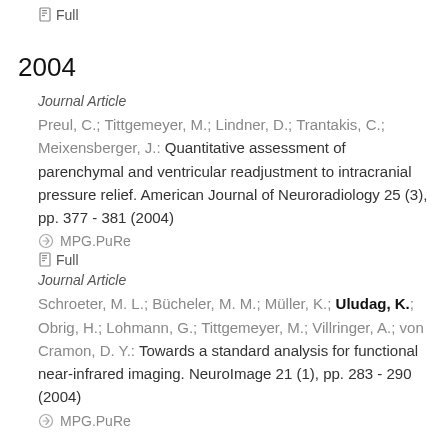[Figure (other): Small PDF/file icon with 'Full' link text at top of page]
2004
Journal Article
Preul, C.; Tittgemeyer, M.; Lindner, D.; Trantakis, C.; Meixensberger, J.: Quantitative assessment of parenchymal and ventricular readjustment to intracranial pressure relief. American Journal of Neuroradiology 25 (3), pp. 377 - 381 (2004)
MPG.PuRe
[Figure (other): Small PDF/file icon with 'Full' link text]
Journal Article
Schroeter, M. L.; Bücheler, M. M.; Müller, K.; Uludag, K.; Obrig, H.; Lohmann, G.; Tittgemeyer, M.; Villringer, A.; von Cramon, D. Y.: Towards a standard analysis for functional near-infrared imaging. NeuroImage 21 (1), pp. 283 - 290 (2004)
MPG.PuRe